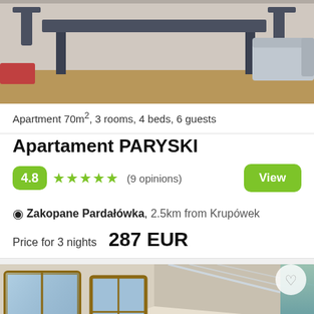[Figure (photo): Interior photo of apartment showing dining table and chairs with sofa in background]
Apartment 70m², 3 rooms, 4 beds, 6 guests
Apartament PARYSKI
4.8 ★★★★½ (9 opinions)
Zakopane Pardałówka, 2.5km from Krupówek
Price for 3 nights  287 EUR
[Figure (photo): Interior photo of apartment showing bright living area with skylights, sofa with yellow pillows, mountain view through windows]